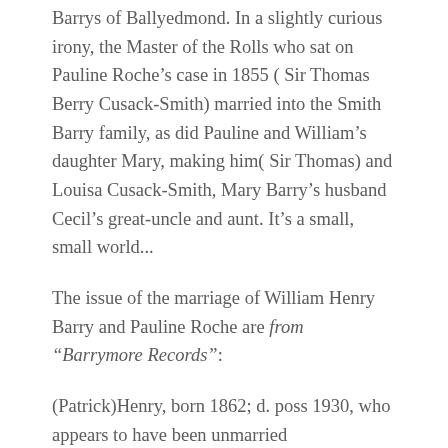Barrys of Ballyedmond. In a slightly curious irony, the Master of the Rolls who sat on Pauline Roche’s case in 1855 ( Sir Thomas Berry Cusack-Smith) married into the Smith Barry family, as did Pauline and William’s daughter Mary, making him( Sir Thomas) and Louisa Cusack-Smith, Mary Barry’s husband Cecil’s great-uncle and aunt. It’s a small, small world...
The issue of the marriage of William Henry Barry and Pauline Roche are from “Barrymore Records”:
(Patrick)Henry, born 1862; d. poss 1930, who appears to have been unmarried
William Gerard; born 1864; d. 1940 in Saint-Jean-de-Luz, unmarried.